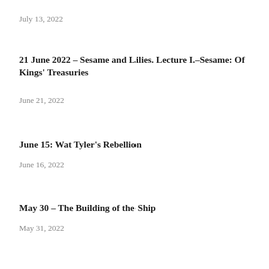July 13, 2022
21 June 2022 – Sesame and Lilies. Lecture I.–Sesame: Of Kings' Treasuries
June 21, 2022
June 15: Wat Tyler's Rebellion
June 16, 2022
May 30 – The Building of the Ship
May 31, 2022